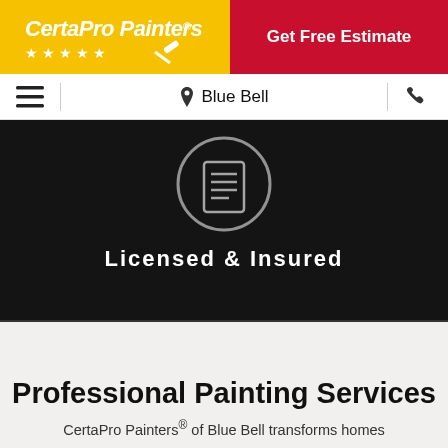[Figure (logo): CertaPro Painters logo with yellow background and red stars]
Get Free Estimate
Blue Bell
[Figure (illustration): Dark background with circular document/license icon and text Licensed & Insured]
Professional Painting Services
CertaPro Painters® of Blue Bell transforms homes